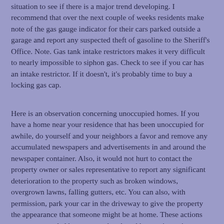situation to see if there is a major trend developing. I recommend that over the next couple of weeks residents make note of the gas gauge indicator for their cars parked outside a garage and report any suspected theft of gasoline to the Sheriff's Office. Note. Gas tank intake restrictors makes it very difficult to nearly impossible to siphon gas. Check to see if you car has an intake restrictor. If it doesn't, it's probably time to buy a locking gas cap.
Here is an observation concerning unoccupied homes. If you have a home near your residence that has been unoccupied for awhile, do yourself and your neighbors a favor and remove any accumulated newspapers and advertisements in and around the newspaper container. Also, it would not hurt to contact the property owner or sales representative to report any significant deterioration to the property such as broken windows, overgrown lawns, falling gutters, etc. You can also, with permission, park your car in the driveway to give the property the appearance that someone might be at home. These actions are recommended because an abandoned houses is a prime target for vandalism, illegal drug use and vagrancy. These types of crimes have a tendency to spawn other criminal activity in and around the